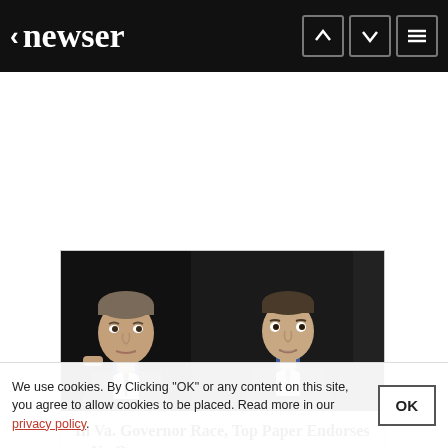newser
[Figure (photo): Two men photographed side by side against a dark background — Terry McAuliffe on the left and Ken Cuccinelli on the right]
In Va. Governor Race, Top Paper Endorses ... No One
Oct 21, 2013 10:46 AM CDT
In Va. Governor Race, Top Paper Endorses ... No One
McAuliffe, Cuccinelli didn't deserve nod, said Washington Dispatch
We use cookies. By Clicking "OK" or any content on this site, you agree to allow cookies to be placed. Read more in our privacy policy.